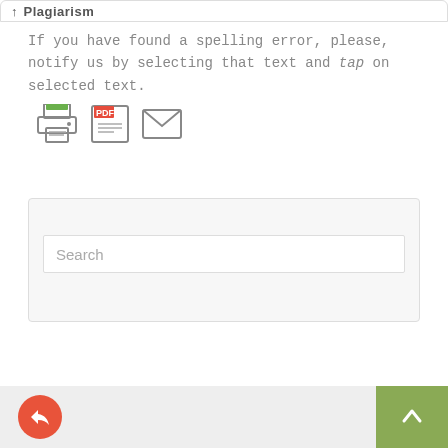Plagiarism
If you have found a spelling error, please, notify us by selecting that text and tap on selected text.
[Figure (illustration): Row of three icons: printer icon, PDF icon, envelope/email icon]
[Figure (screenshot): Search box widget with placeholder text 'Search' inside a light gray rounded container]
[Figure (illustration): Bottom bar with orange circle back/share button on left and olive/green up-arrow button on right]